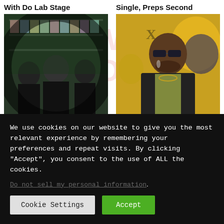With Do Lab Stage
Single, Preps Second
[Figure (photo): Three band members in black t-shirts standing in a record store with fisheye lens effect]
[Figure (photo): Man wearing sunglasses and leather jacket smoking, in front of colorful graffiti wall]
MUSIC
MUSIC
We use cookies on our website to give you the most relevant experience by remembering your preferences and repeat visits. By clicking “Accept”, you consent to the use of ALL the cookies.
Do not sell my personal information.
Cookie Settings
Accept